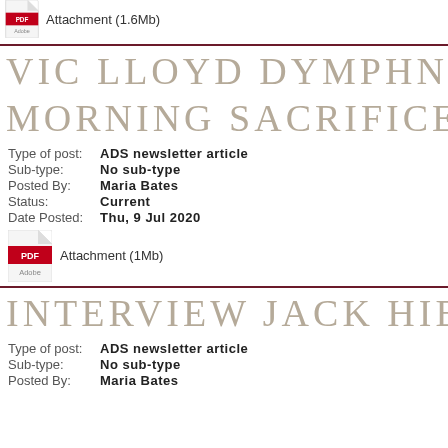[Figure (other): Adobe PDF icon with attachment label]
Attachment (1.6Mb)
VIC LLOYD DYMPHNA CU MORNING SACRIFICE
Type of post: ADS newsletter article
Sub-type: No sub-type
Posted By: Maria Bates
Status: Current
Date Posted: Thu, 9 Jul 2020
[Figure (other): Adobe PDF icon with attachment label]
Attachment (1Mb)
INTERVIEW JACK HIBBER
Type of post: ADS newsletter article
Sub-type: No sub-type
Posted By: Maria Bates